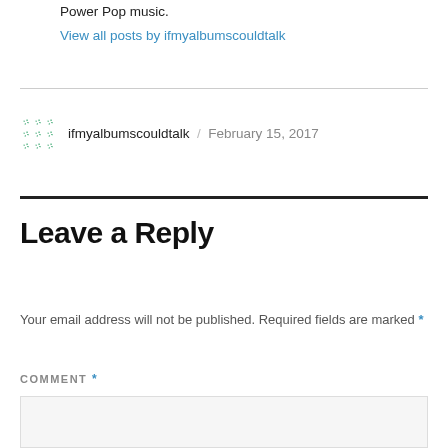Power Pop music.
View all posts by ifmyalbumscouldtalk
ifmyalbumscouldtalk / February 15, 2017
Leave a Reply
Your email address will not be published. Required fields are marked *
COMMENT *